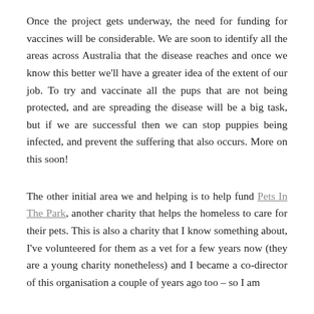Once the project gets underway, the need for funding for vaccines will be considerable. We are soon to identify all the areas across Australia that the disease reaches and once we know this better we'll have a greater idea of the extent of our job. To try and vaccinate all the pups that are not being protected, and are spreading the disease will be a big task, but if we are successful then we can stop puppies being infected, and prevent the suffering that also occurs. More on this soon!
The other initial area we and helping is to help fund Pets In The Park, another charity that helps the homeless to care for their pets. This is also a charity that I know something about, I've volunteered for them as a vet for a few years now (they are a young charity nonetheless) and I became a co-director of this organisation a couple of years ago too – so I am